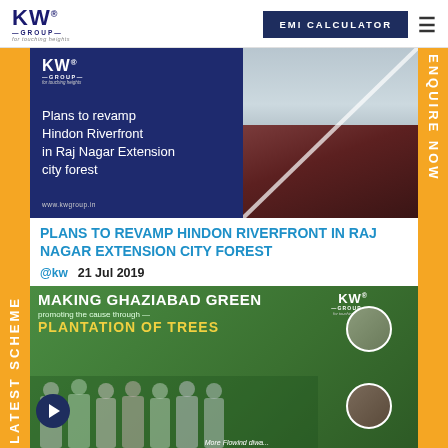KW GROUP EMI CALCULATOR
[Figure (photo): KW Group promotional banner image for 'Plans to revamp Hindon Riverfront in Raj Nagar Extension city forest' showing the riverfront and forest with KW Group logo and website www.kwgroup.in]
PLANS TO REVAMP HINDON RIVERFRONT IN RAJ NAGAR EXTENSION CITY FOREST
@kw   21 Jul 2019
[Figure (photo): Event photo showing 'Making Ghaziabad Green - promoting the cause through plantation of trees' with KW Group logo, group of people standing and circular portrait photos on the right side]